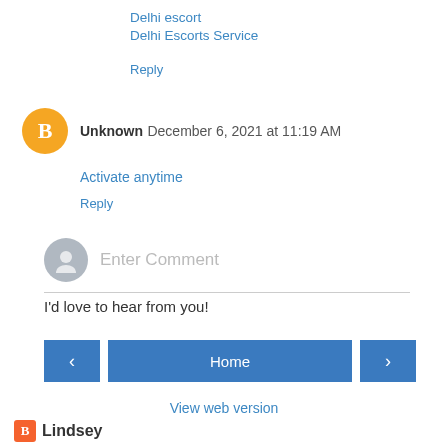Delhi escort
Delhi Escorts Service
Reply
Unknown  December 6, 2021 at 11:19 AM
Activate anytime
Reply
Enter Comment
I'd love to hear from you!
< Home > View web version
Lindsey